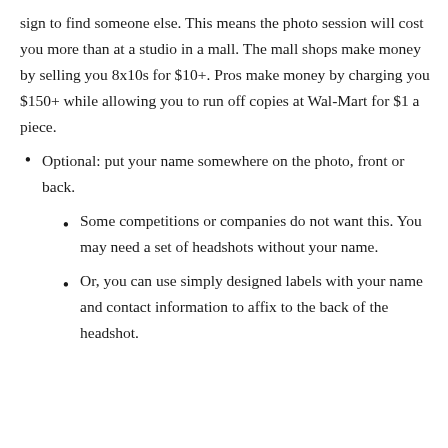sign to find someone else. This means the photo session will cost you more than at a studio in a mall. The mall shops make money by selling you 8x10s for $10+. Pros make money by charging you $150+ while allowing you to run off copies at Wal-Mart for $1 a piece.
Optional: put your name somewhere on the photo, front or back.
Some competitions or companies do not want this. You may need a set of headshots without your name.
Or, you can use simply designed labels with your name and contact information to affix to the back of the headshot.